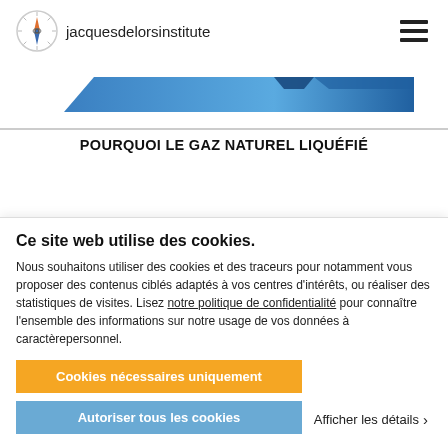jacquesdelorsinstitute
[Figure (illustration): Blue diagonal banner/bar graphic for Jacques Delors Institute report]
POURQUOI LE GAZ NATUREL LIQUÉFIÉ
Ce site web utilise des cookies.
Nous souhaitons utiliser des cookies et des traceurs pour notamment vous proposer des contenus ciblés adaptés à vos centres d'intérêts, ou réaliser des statistiques de visites. Lisez notre politique de confidentialité pour connaître l'ensemble des informations sur notre usage de vos données à caractèrepersonnel.
Cookies nécessaires uniquement
Autoriser tous les cookies
Afficher les détails